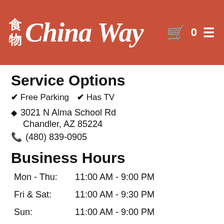China Way - restaurant header with logo, cart icon (0), and hamburger menu
Service Options
✔ Free Parking  ✔ Has TV
◆ 3021 N Alma School Rd
Chandler, AZ 85224
✆ (480) 839-0905
Business Hours
| Day | Hours |
| --- | --- |
| Mon - Thu: | 11:00 AM - 9:00 PM |
| Fri & Sat: | 11:00 AM - 9:30 PM |
| Sun: | 11:00 AM - 9:00 PM |
Carryout Hours